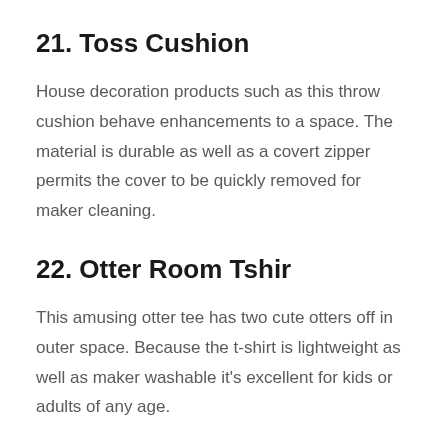21. Toss Cushion
House decoration products such as this throw cushion behave enhancements to a space. The material is durable as well as a covert zipper permits the cover to be quickly removed for maker cleaning.
22. Otter Room Tshir
This amusing otter tee has two cute otters off in outer space. Because the t-shirt is lightweight as well as maker washable it's excellent for kids or adults of any age.
23. Sea Otter Sticker Label Pack